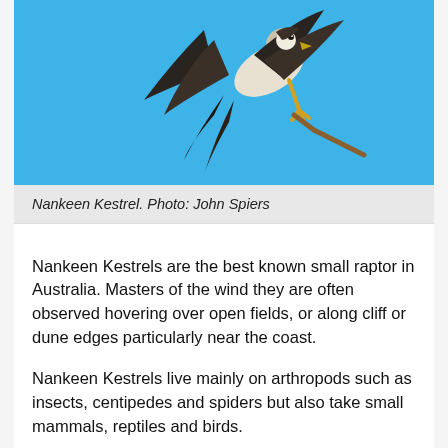[Figure (photo): Nankeen Kestrel bird perched on a branch against a bright blue sky, photographed from below showing wings and talons]
Nankeen Kestrel. Photo: John Spiers
Nankeen Kestrels are the best known small raptor in Australia. Masters of the wind they are often observed hovering over open fields, or along cliff or dune edges particularly near the coast.
Nankeen Kestrels live mainly on arthropods such as insects, centipedes and spiders but also take small mammals, reptiles and birds.
[Figure (photo): Partial view of a Nankeen Kestrel bird against blue sky, image cropped at bottom of page]